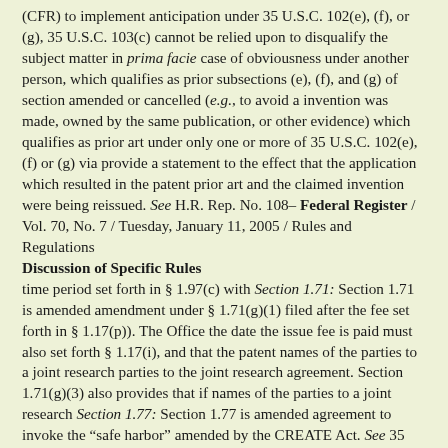(CFR) to implement anticipation under 35 U.S.C. 102(e), (f), or (g), 35 U.S.C. 103(c) cannot be relied upon to disqualify the subject matter in prima facie case of obviousness under another person, which qualifies as prior subsections (e), (f), and (g) of section amended or cancelled (e.g., to avoid a invention was made, owned by the same publication, or other evidence) which qualifies as prior art under only one or more of 35 U.S.C. 102(e), (f) or (g) via provide a statement to the effect that the application which resulted in the patent prior art and the claimed invention were being reissued. See H.R. Rep. No. 108– Federal Register / Vol. 70, No. 7 / Tuesday, January 11, 2005 / Rules and Regulations
Discussion of Specific Rules
time period set forth in § 1.97(c) with Section 1.71: Section 1.71 is amended amendment under § 1.71(g)(1) filed after the fee set forth in § 1.17(p)). The Office the date the issue fee is paid must also set forth § 1.17(i), and that the patent names of the parties to a joint research parties to the joint research agreement. Section 1.71(g)(3) also provides that if names of the parties to a joint research Section 1.77: Section 1.77 is amended agreement to invoke the "safe harbor" amended by the CREATE Act. See 35 research agreement will